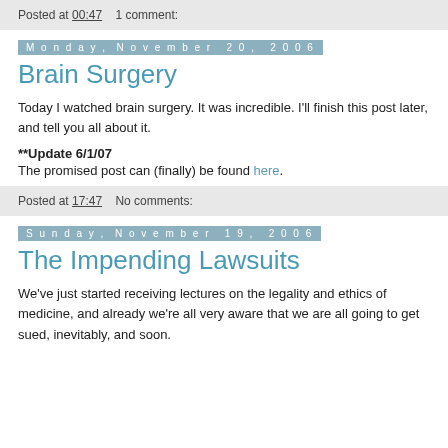Posted at 00:47    1 comment:
Monday, November 20, 2006
Brain Surgery
Today I watched brain surgery. It was incredible. I'll finish this post later, and tell you all about it.
**Update 6/1/07
The promised post can (finally) be found here.
Posted at 17:47    No comments:
Sunday, November 19, 2006
The Impending Lawsuits
We've just started receiving lectures on the legality and ethics of medicine, and already we're all very aware that we are all going to get sued, inevitably, and soon.